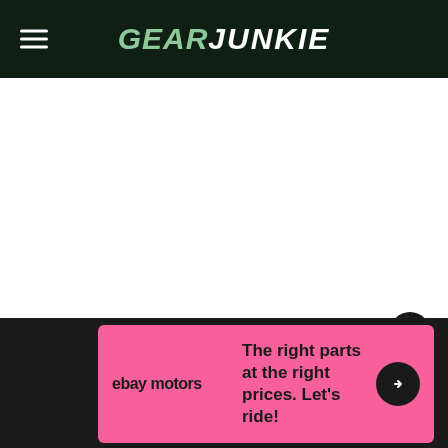GearJunkie
p
[Figure (other): Large white blank content area, main page body]
[Figure (other): Pink advertisement banner with eBay Motors logo and text: The right parts at the right prices. Let's ride! with arrow button and close X button]